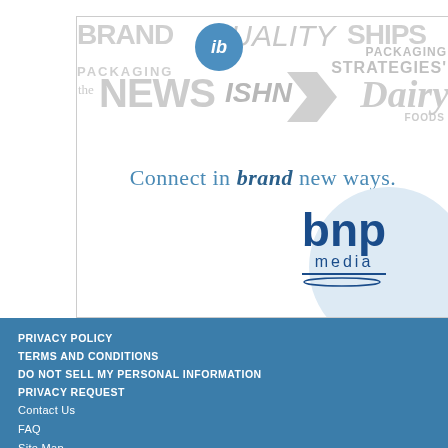[Figure (illustration): BNP Media advertisement banner with brand names (Brand Packaging, Quality, Ships, Packaging Strategies, the NEWS, ISHN, Dairy Foods) shown in light gray watermark style text, tagline 'Connect in brand new ways.' and BNP media logo at bottom right]
PRIVACY POLICY
TERMS AND CONDITIONS
DO NOT SELL MY PERSONAL INFORMATION
PRIVACY REQUEST
Contact Us
FAQ
Site Map
Accreditations